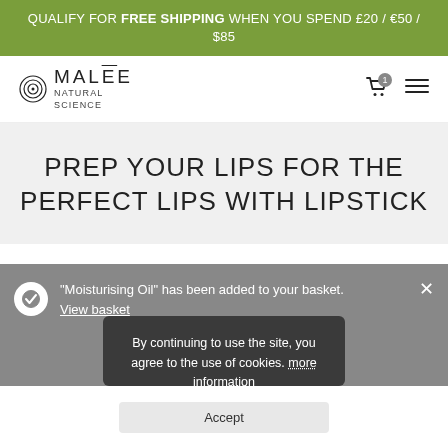QUALIFY FOR FREE SHIPPING WHEN YOU SPEND £20 / €50 / $85
[Figure (logo): MALĒE NATURAL SCIENCE logo with concentric circle icon]
PREP YOUR LIPS FOR THE PERFECT LIPS WITH LIPSTICK
"Moisturising Oil" has been added to your basket. View basket
By continuing to use the site, you agree to the use of cookies. more information
Accept